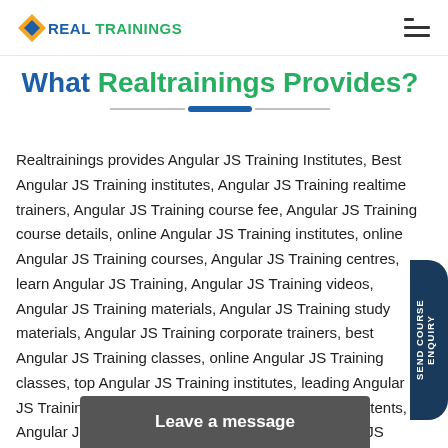REAL TRAININGS
What Realtrainings Provides?
Realtrainings provides Angular JS Training Institutes, Best Angular JS Training institutes, Angular JS Training realtime trainers, Angular JS Training course fee, Angular JS Training course details, online Angular JS Training institutes, online Angular JS Training courses, Angular JS Training centres, learn Angular JS Training, Angular JS Training videos, Angular JS Training materials, Angular JS Training study materials, Angular JS Training corporate trainers, best Angular JS Training classes, online Angular JS Training classes, top Angular JS Training institutes, leading Angular JS Training institutes, Angular JS Training course contents, Angular JS Training course structure, online Angular JS Training
SEND COURSE ENQUIRY
Leave a message